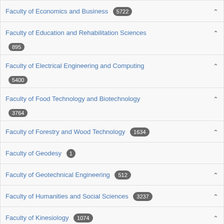Faculty of Economics and Business 5722
Faculty of Education and Rehabilitation Sciences 895
Faculty of Electrical Engineering and Computing 5400
Faculty of Food Technology and Biotechnology 3764
Faculty of Forestry and Wood Technology 1634
Faculty of Geodesy 1
Faculty of Geotechnical Engineering 512
Faculty of Humanities and Social Sciences 3237
Faculty of Kinesiology 1074
Faculty of Law 3967
Faculty of Mechanical Engineering and Naval Architecture 4392
Faculty of Metallurgy 157